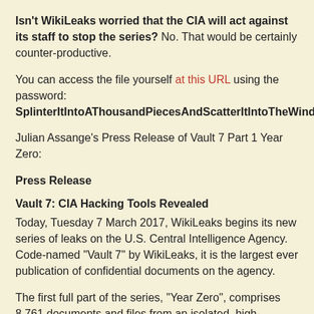Isn't WikiLeaks worried that the CIA will act against its staff to stop the series? No. That would be certainly counter-productive.
You can access the file yourself at this URL using the password: SplinterItIntoAThousandPiecesAndScatterItIntoTheWinds
Julian Assange's Press Release of Vault 7 Part 1 Year Zero:
Press Release
Vault 7: CIA Hacking Tools Revealed
Today, Tuesday 7 March 2017, WikiLeaks begins its new series of leaks on the U.S. Central Intelligence Agency. Code-named "Vault 7" by WikiLeaks, it is the largest ever publication of confidential documents on the agency.
The first full part of the series, "Year Zero", comprises 8,761 documents and files from an isolated, high-security network